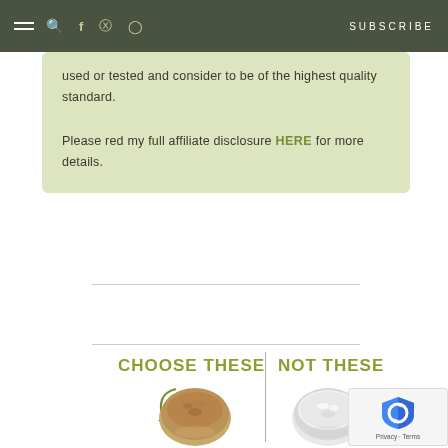SUBSCRIBE
used or tested and consider to be of the highest quality standard.

Please red my full affiliate disclosure HERE for more details.
[Figure (infographic): CHOOSE THESE / NOT THESE infographic with brown ground spice in bowl on left and white refined sugar/powder in bowl on right, separated by a vertical line]
[Figure (logo): reCAPTCHA badge with Privacy and Terms]